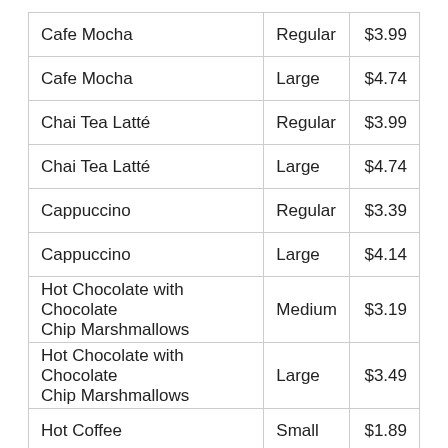| Cafe Mocha | Regular | $3.99 |
| Cafe Mocha | Large | $4.74 |
| Chai Tea Latté | Regular | $3.99 |
| Chai Tea Latté | Large | $4.74 |
| Cappuccino | Regular | $3.39 |
| Cappuccino | Large | $4.14 |
| Hot Chocolate with Chocolate Chip Marshmallows | Medium | $3.19 |
| Hot Chocolate with Chocolate Chip Marshmallows | Large | $3.49 |
| Hot Coffee | Small | $1.89 |
| Hot Coffee | Medium | $2.09 |